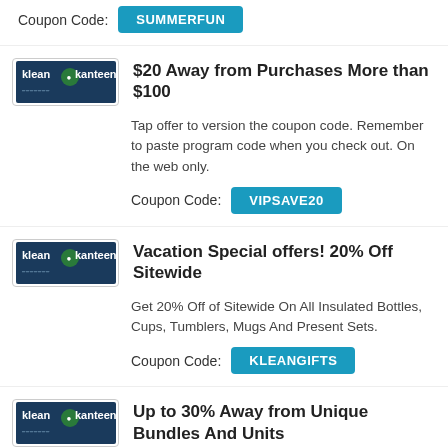Coupon Code: SUMMERFUN
[Figure (logo): Klean Kanteen logo]
$20 Away from Purchases More than $100
Tap offer to version the coupon code. Remember to paste program code when you check out. On the web only.
Coupon Code: VIPSAVE20
[Figure (logo): Klean Kanteen logo]
Vacation Special offers! 20% Off Sitewide
Get 20% Off of Sitewide On All Insulated Bottles, Cups, Tumblers, Mugs And Present Sets.
Coupon Code: KLEANGIFTS
[Figure (logo): Klean Kanteen logo]
Up to 30% Away from Unique Bundles And Units
Get up to 30% away groups of insulated